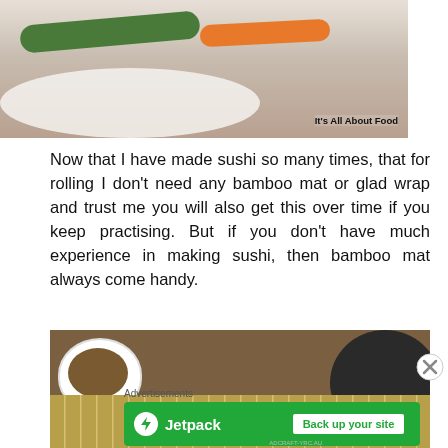[Figure (photo): Photo of cucumber and carrot sticks on a white plate on a wooden surface, with watermark 'It's All About Food']
Now that I have made sushi so many times, that for rolling I don't need any bamboo mat or glad wrap and trust me you will also get this over time if you keep practising. But if you don't have much experience in making sushi, then bamboo mat always come handy.
[Figure (photo): Photo of sushi ingredients including a white bowl with mushrooms and a bamboo rolling mat on a wooden surface, with a black skillet in the corner]
Advertisements
[Figure (other): Jetpack advertisement banner: green background, Jetpack logo with lightning bolt icon, 'Back up your site' button]